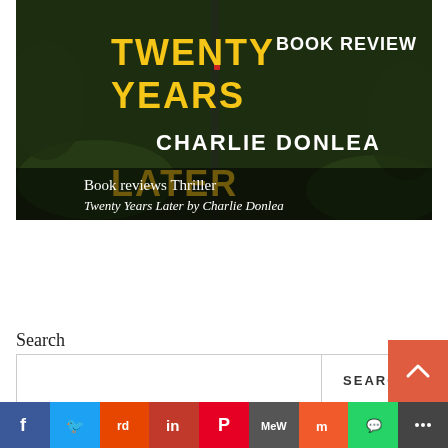[Figure (photo): Book cover image for 'Twenty Years Later' by Charlie Donlea with 'Book Review' text overlay. Dark moody background with yellow and white typography. Subtitle tags: 'Book reviews Thriller' and 'Twenty Years Later by Charlie Donlea']
Search
[Figure (infographic): Search bar with text input field and SEARCH button]
[Figure (infographic): Social sharing bar with icons: Facebook, Twitter, Reddit, LinkedIn, Pinterest, MeWe, Mix, WhatsApp, More]